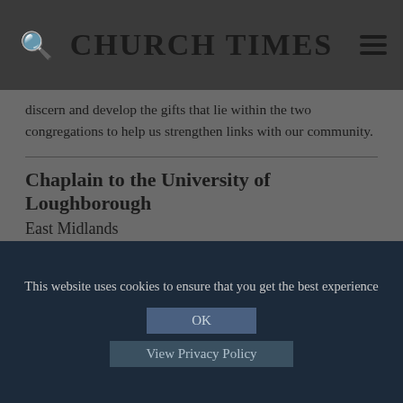CHURCH TIMES
discern and develop the gifts that lie within the two congregations to help us strengthen links with our community.
Chaplain to the University of Loughborough East Midlands
The Bishop is seeking to appoint an anglican chaplain to the University of Loughborough Chaplaincy. As an interfaith chaplaincy, it draws from the many different faiths found in Loughborough and its surrounding villages.
Find more jobs
This website uses cookies to ensure that you get the best experience
OK
View Privacy Policy